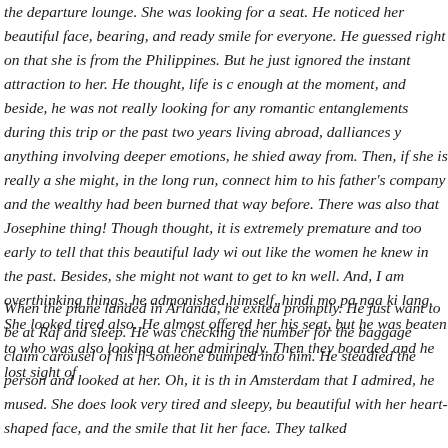the departure lounge. She was looking for a seat. He noticed her beautiful face, bearing, and ready smile for everyone. He guessed right on that she is from the Philippines. But he just ignored the instant attraction to her. He thought, life is c enough at the moment, and beside, he was not really looking for any romantic entanglements during this trip or the past two years living abroad, dalliances y anything involving deeper emotions, he shied away from. Then, if she is really a she might, in the long run, connect him to his father's company and the wealthy had been burned that way before. There was also that Josephine thing! Though thought, it is extremely premature and too early to tell that this beautiful lady wi out like the women he knew in the past. Besides, she might not want to get to kn well. And, I am overthinking things, he admonished himself, hindi mo pa nga ki lang. She looked tired also. He almost offered her his seat, but he was beaten to who was also looking at her admiringly. Then they boarded and he lost sight of
When the plane landed in Arlanda, he exited promptly. He just want to be at Raf and sleep. He was checking the number for the baggage claim carousel of his fl someone bumped into him. He steadied the person and looked at her. Oh, it is th in Amsterdam that I admired, he mused. She does look very tired and sleepy, bu beautiful with her heart-shaped face, and the smile that lit her face. They talked